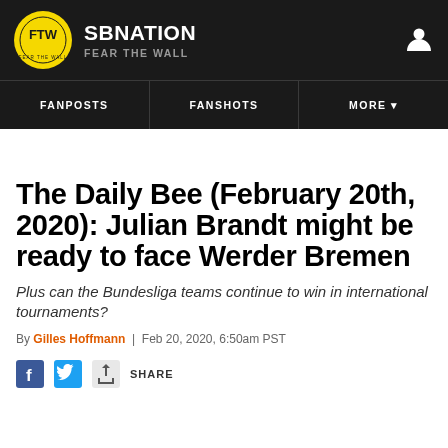SBNATION / FEAR THE WALL
The Daily Bee (February 20th, 2020): Julian Brandt might be ready to face Werder Bremen
Plus can the Bundesliga teams continue to win in international tournaments?
By Gilles Hoffmann | Feb 20, 2020, 6:50am PST